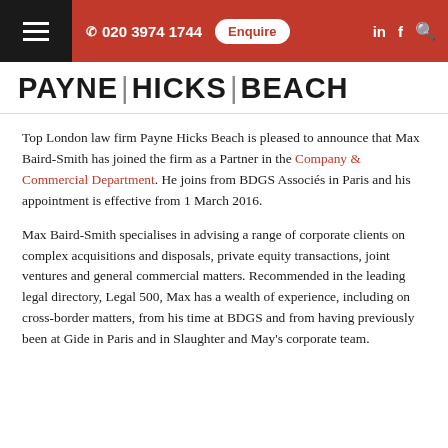☰  020 3974 1744  Enquire  in  f  🔍
PAYNE | HICKS | BEACH
Top London law firm Payne Hicks Beach is pleased to announce that Max Baird-Smith has joined the firm as a Partner in the Company & Commercial Department. He joins from BDGS Associés in Paris and his appointment is effective from 1 March 2016.
Max Baird-Smith specialises in advising a range of corporate clients on complex acquisitions and disposals, private equity transactions, joint ventures and general commercial matters. Recommended in the leading legal directory, Legal 500, Max has a wealth of experience, including on cross-border matters, from his time at BDGS and from having previously been at Gide in Paris and in Slaughter and May's corporate team.